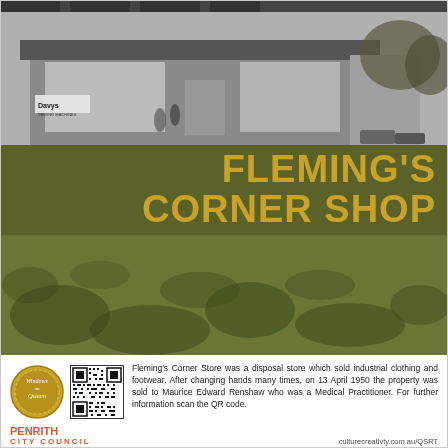[Figure (photo): Black and white historical photograph of Fleming's Corner Shop building exterior, showing a low commercial storefront with large windows and trees/vegetation around it. A sign reading 'Davys' is visible on the left.]
FLEMING'S CORNER SHOP
Fleming's Corner Store was a disposal store which sold industrial clothing and footwear. After changing hands many times, on 13 April 1950 the property was sold to Maurice Edward Renshaw who was a Medical Practitioner. For further information scan the QR code.
[Figure (logo): Windows on Queen circular gold/brown logo with cursive text]
[Figure (other): QR code for further information at culturecreativty.com.au/QSRT]
PENRITH CITY COUNCIL    culturecreativty.com.au/QSRT